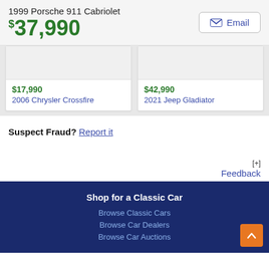1999 Porsche 911 Cabriolet
$37,990
$17,990
2006 Chrysler Crossfire
$42,990
2021 Jeep Gladiator
Suspect Fraud? Report it
[+] Feedback
Shop for a Classic Car
Browse Classic Cars
Browse Car Dealers
Browse Car Auctions